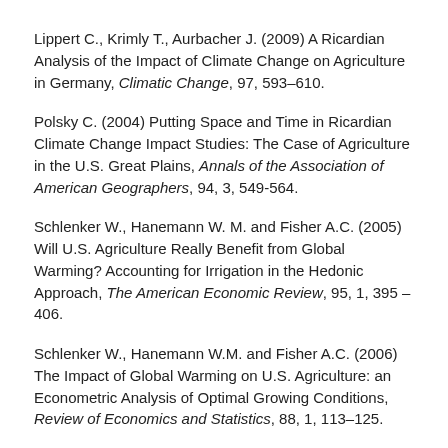Lippert C., Krimly T., Aurbacher J. (2009) A Ricardian Analysis of the Impact of Climate Change on Agriculture in Germany, Climatic Change, 97, 593–610.
Polsky C. (2004) Putting Space and Time in Ricardian Climate Change Impact Studies: The Case of Agriculture in the U.S. Great Plains, Annals of the Association of American Geographers, 94, 3, 549-564.
Schlenker W., Hanemann W. M. and Fisher A.C. (2005) Will U.S. Agriculture Really Benefit from Global Warming? Accounting for Irrigation in the Hedonic Approach, The American Economic Review, 95, 1, 395 – 406.
Schlenker W., Hanemann W.M. and Fisher A.C. (2006) The Impact of Global Warming on U.S. Agriculture: an Econometric Analysis of Optimal Growing Conditions, Review of Economics and Statistics, 88, 1, 113–125.